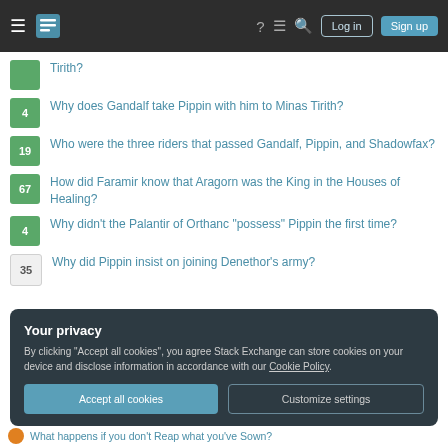Navigation bar with Stack Exchange logo, Log in and Sign up buttons
Tirith?
4 — Why does Gandalf take Pippin with him to Minas Tirith?
19 — Who were the three riders that passed Gandalf, Pippin, and Shadowfax?
67 — How did Faramir know that Aragorn was the King in the Houses of Healing?
4 — Why didn't the Palantir of Orthanc "possess" Pippin the first time?
35 — Why did Pippin insist on joining Denethor's army?
Your privacy
By clicking "Accept all cookies", you agree Stack Exchange can store cookies on your device and disclose information in accordance with our Cookie Policy.
Accept all cookies | Customize settings
What happens if you don't Reap what you've Sown?